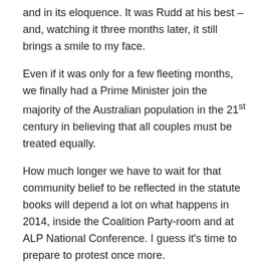and in its eloquence. It was Rudd at his best – and, watching it three months later, it still brings a smile to my face.
Even if it was only for a few fleeting months, we finally had a Prime Minister join the majority of the Australian population in the 21st century in believing that all couples must be treated equally.
How much longer we have to wait for that community belief to be reflected in the statute books will depend a lot on what happens in 2014, inside the Coalition Party-room and at ALP National Conference. I guess it's time to prepare to protest once more.
If you like this post, please share: